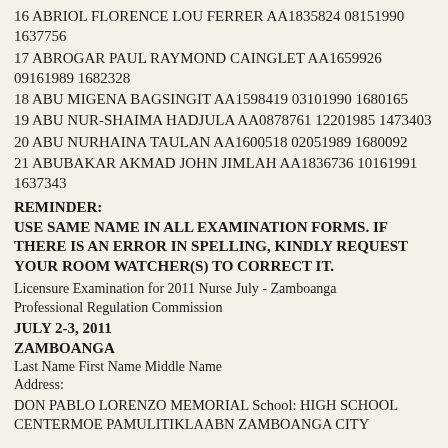16 ABRIOL FLORENCE LOU FERRER AA1835824 08151990 1637756
17 ABROGAR PAUL RAYMOND CAINGLET AA1659926 09161989 1682328
18 ABU MIGENA BAGSINGIT AA1598419 03101990 1680165
19 ABU NUR-SHAIMA HADJULA AA0878761 12201985 1473403
20 ABU NURHAINA TAULAN AA1600518 02051989 1680092
21 ABUBAKAR AKMAD JOHN JIMLAH AA1836736 10161991 1637343
REMINDER:
USE SAME NAME IN ALL EXAMINATION FORMS. IF THERE IS AN ERROR IN SPELLING, KINDLY REQUEST YOUR ROOM WATCHER(S) TO CORRECT IT.
Licensure Examination for 2011 Nurse July - Zamboanga
Professional Regulation Commission
JULY 2-3, 2011
ZAMBOANGA
Last Name First Name Middle Name
Address:
DON PABLO LORENZO MEMORIAL School: HIGH SCHOOL CENTERMOE PAMULITIKLAABN ZAMBOANGA CITY